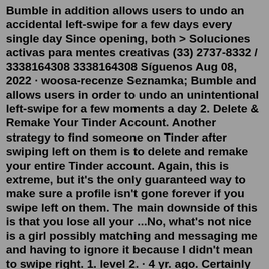Bumble in addition allows users to undo an accidental left-swipe for a few days every single day Since opening, both > Soluciones activas para mentes creativas (33) 2737-8332 / 3338164308 3338164308 Síguenos Aug 08, 2022 · woosa-recenze Seznamka; Bumble and allows users in order to undo an unintentional left-swipe for a few moments a day 2. Delete & Remake Your Tinder Account. Another strategy to find someone on Tinder after swiping left on them is to delete and remake your entire Tinder account. Again, this is extreme, but it's the only guaranteed way to make sure a profile isn't gone forever if you swipe left on them. The main downside of this is that you lose all your ...No, what's not nice is a girl possibly matching and messaging me and having to ignore it because I didn't mean to swipe right. 1. level 2. · 4 yr. ago. Certainly one of Bumbles most idiotic features, at the very least, you should have the option to confirm swipes. Canceling the final Bumble swipe is fairly easy on Bumble. Once you accidentally swiped anyone leftover, you just need to